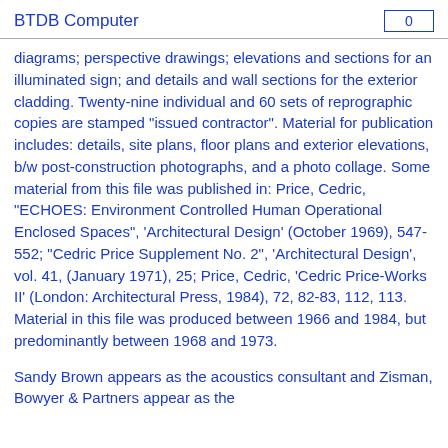BTDB Computer	0
diagrams; perspective drawings; elevations and sections for an illuminated sign; and details and wall sections for the exterior cladding. Twenty-nine individual and 60 sets of reprographic copies are stamped "issued contractor". Material for publication includes: details, site plans, floor plans and exterior elevations, b/w post-construction photographs, and a photo collage. Some material from this file was published in: Price, Cedric, "ECHOES: Environment Controlled Human Operational Enclosed Spaces", 'Architectural Design' (October 1969), 547-552; "Cedric Price Supplement No. 2", 'Architectural Design', vol. 41, (January 1971), 25; Price, Cedric, 'Cedric Price-Works II' (London: Architectural Press, 1984), 72, 82-83, 112, 113. Material in this file was produced between 1966 and 1984, but predominantly between 1968 and 1973.
Sandy Brown appears as the acoustics consultant and Zisman, Bowyer & Partners appear as the